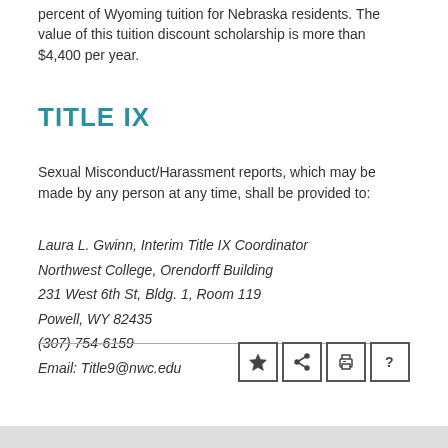percent of Wyoming tuition for Nebraska residents. The value of this tuition discount scholarship is more than $4,400 per year.
TITLE IX
Sexual Misconduct/Harassment reports, which may be made by any person at any time, shall be provided to:
Laura L. Gwinn, Interim Title IX Coordinator
Northwest College, Orendorff Building
231 West 6th St, Bldg. 1, Room 119
Powell, WY 82435
(307) 754-6159
Email: Title9@nwc.edu
[Figure (other): Toolbar icons: star (bookmark), share, print, help]